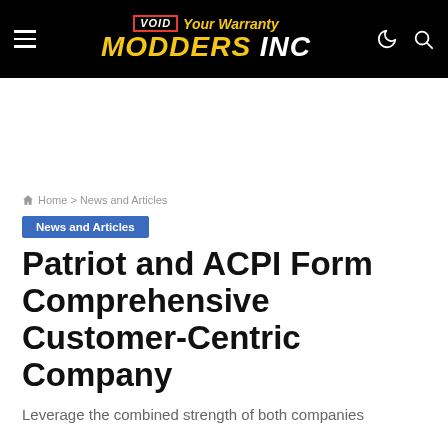VOID Your Warranty MODDERS INC
Home > News and Articles
News and Articles
Patriot and ACPI Form Comprehensive Customer-Centric Company
Leverage the combined strength of both companies